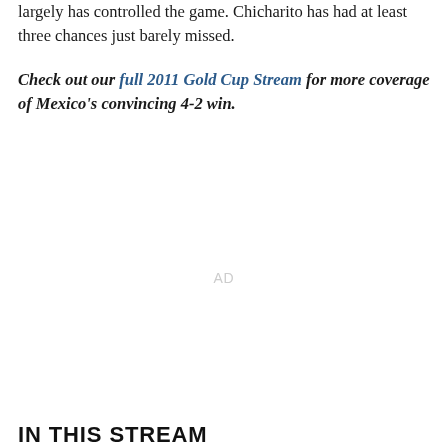largely has controlled the game. Chicharito has had at least three chances just barely missed.
Check out our full 2011 Gold Cup Stream for more coverage of Mexico's convincing 4-2 win.
AD
IN THIS STREAM